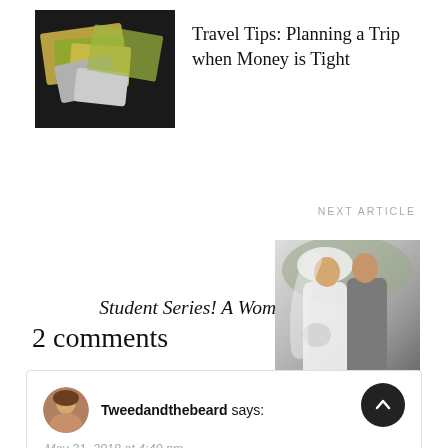[Figure (photo): Thumbnail photo of currency and cards on dark background for Travel Tips article]
Travel Tips: Planning a Trip when Money is Tight
NEXT ARTICLE
Student Series! A Woman's Role in Marriage
[Figure (photo): Black and white photo of a bride and groom kissing at a wedding]
2 comments
[Figure (photo): Avatar photo of commenter Tweedandthebeard]
Tweedandthebeard says:
May 31, 2018 at 4:49 pm